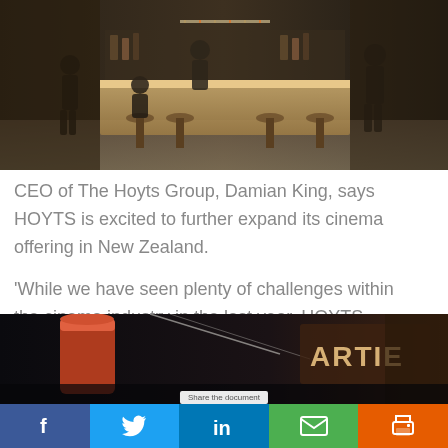[Figure (photo): Interior of a cinema bar/lounge area with people standing and sitting on bar stools around a wooden counter, dimly lit with warm lighting]
CEO of The Hoyts Group, Damian King, says HOYTS is excited to further expand its cinema offering in New Zealand.
'While we have seen plenty of challenges within the cinema industry in the last year, HOYTS Ormiston really showcases our commitment to the movie-going experience in Auckland'.
[Figure (photo): Dark interior of a cinema or entertainment venue with 'ARTIE' signage visible on the right, and a cylindrical red/orange light fixture on the left]
Share the document | Facebook | Twitter | LinkedIn | Email | Print